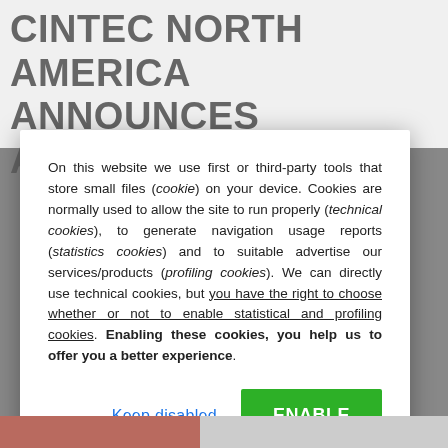CINTEC NORTH AMERICA ANNOUNCES ANCHORING IN
On this website we use first or third-party tools that store small files (cookie) on your device. Cookies are normally used to allow the site to run properly (technical cookies), to generate navigation usage reports (statistics cookies) and to suitable advertise our services/products (profiling cookies). We can directly use technical cookies, but you have the right to choose whether or not to enable statistical and profiling cookies. Enabling these cookies, you help us to offer you a better experience.
Keep disabled
ENABLE